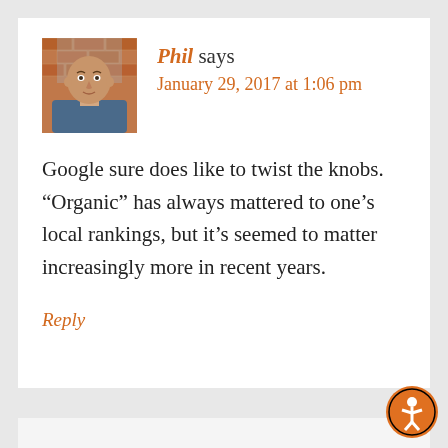[Figure (photo): Avatar photo of Phil, a bald man wearing a blue shirt, with a brick wall background]
Phil says
January 29, 2017 at 1:06 pm
Google sure does like to twist the knobs. “Organic” has always mattered to one’s local rankings, but it’s seemed to matter increasingly more in recent years.
Reply